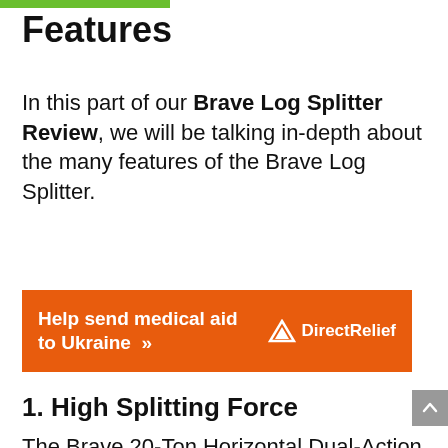Features
In this part of our Brave Log Splitter Review, we will be talking in-depth about the many features of the Brave Log Splitter.
[Figure (infographic): Orange advertisement banner reading 'Help send medical aid to Ukraine >>' with Direct Relief logo on the right]
1. High Splitting Force
The Brave 20-Ton Horizontal Dual-Action Gas Log Splitter is an American-made log splitter. The machine's dual-action consists of...